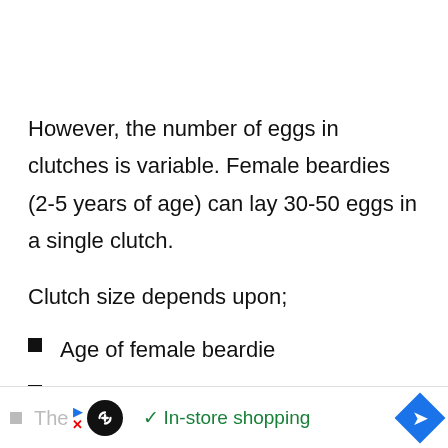However, the number of eggs in clutches is variable. Female beardies (2-5 years of age) can lay 30-50 eggs in a single clutch.
Clutch size depends upon;
Age of female beardie
Previous breeding history
The…